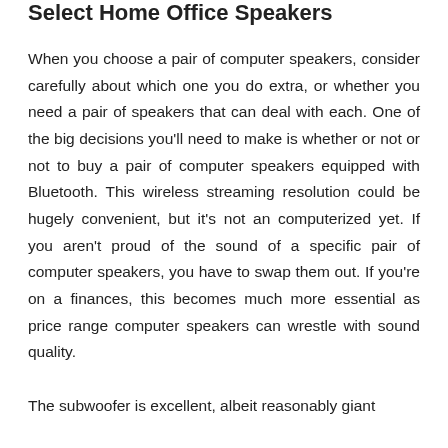Select Home Office Speakers
When you choose a pair of computer speakers, consider carefully about which one you do extra, or whether you need a pair of speakers that can deal with each. One of the big decisions you'll need to make is whether or not or not to buy a pair of computer speakers equipped with Bluetooth. This wireless streaming resolution could be hugely convenient, but it's not an computerized yet. If you aren't proud of the sound of a specific pair of computer speakers, you have to swap them out. If you're on a finances, this becomes much more essential as price range computer speakers can wrestle with sound quality.

The subwoofer is excellent, albeit reasonably giant